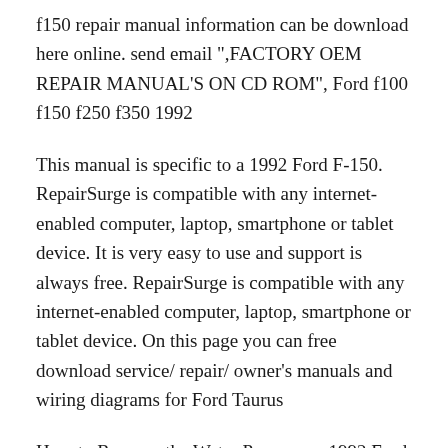f150 repair manual information can be download here online. send email ",FACTORY OEM REPAIR MANUAL'S ON CD ROM", Ford f100 f150 f250 f350 1992
This manual is specific to a 1992 Ford F-150. RepairSurge is compatible with any internet-enabled computer, laptop, smartphone or tablet device. It is very easy to use and support is always free. RepairSurge is compatible with any internet-enabled computer, laptop, smartphone or tablet device. On this page you can free download service/ repair/ owner's manuals and wiring diagrams for Ford Taurus
How to Remove the Water Pump on a 1992 Ford F-150 Online Repair December 11, 2016